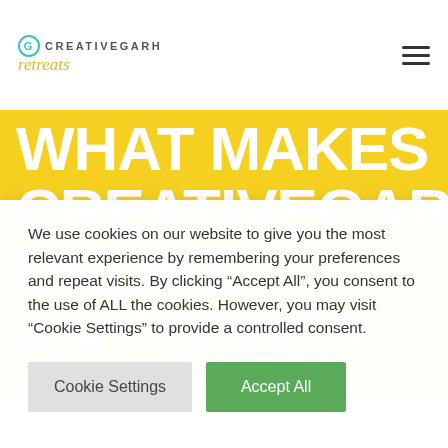CREATIVEGARH retreats
WHAT MAKES CREATIVEGARH UNLIKE ANY OTHER CREATIVITY RETREATS
We use cookies on our website to give you the most relevant experience by remembering your preferences and repeat visits. By clicking “Accept All”, you consent to the use of ALL the cookies. However, you may visit “Cookie Settings” to provide a controlled consent.
Cookie Settings | Accept All